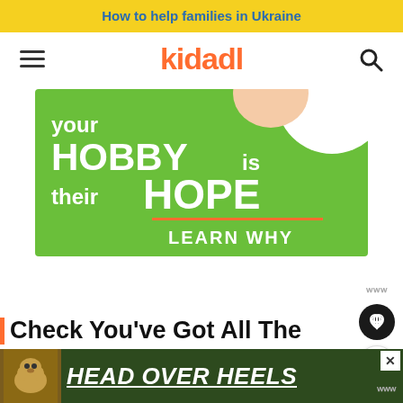How to help families in Ukraine
[Figure (logo): kidadl logo with hamburger menu and search icon]
[Figure (illustration): Green advertisement banner: 'your HOBBY is their HOPE — LEARN WHY' with hand holding a ball and white circle cutout]
Check You've Got All The
[Figure (illustration): Bottom advertisement banner: 'HEAD OVER HEELS' with dog image on dark green background]